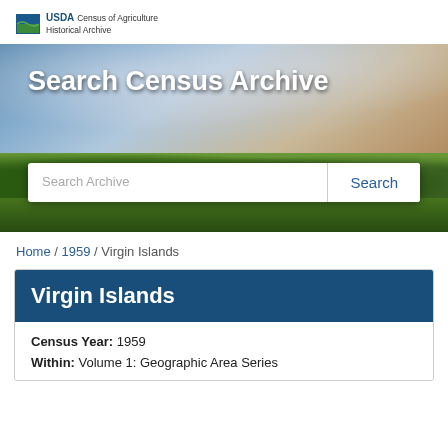USDA Census of Agriculture Historical Archive
[Figure (photo): Hero banner with landscape photo showing sky and green trees, containing 'Search Census Archive' title and a search bar]
Search Census Archive
Search Archive | Search
Home / 1959 / Virgin Islands
Virgin Islands
Census Year: 1959
Within: Volume 1: Geographic Area Series